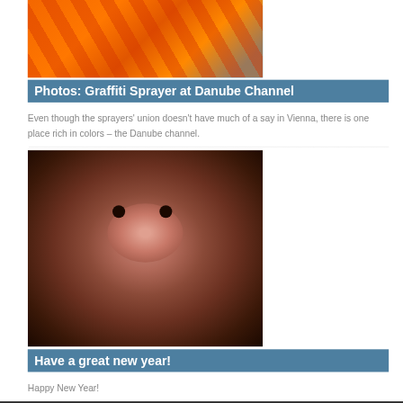[Figure (photo): Colorful graffiti artwork with orange background and human figures]
Photos: Graffiti Sprayer at Danube Channel
Even though the sprayers' union doesn't have much of a say in Vienna, there is one place rich in colors – the Danube channel.
[Figure (photo): Close-up photo of a pig's face in mud]
Have a great new year!
Happy New Year!
This site uses cookies. By continuing to browse the site, you are agreeing to our use of cookies.